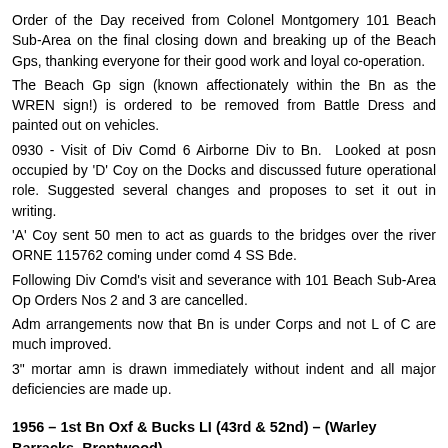Order of the Day received from Colonel Montgomery 101 Beach Sub-Area on the final closing down and breaking up of the Beach Gps, thanking everyone for their good work and loyal co-operation.
The Beach Gp sign (known affectionately within the Bn as the WREN sign!) is ordered to be removed from Battle Dress and painted out on vehicles.
0930 - Visit of Div Comd 6 Airborne Div to Bn.  Looked at posn occupied by 'D' Coy on the Docks and discussed future operational role. Suggested several changes and proposes to set it out in writing.
'A' Coy sent 50 men to act as guards to the bridges over the river ORNE 115762 coming under comd 4 SS Bde.
Following Div Comd's visit and severance with 101 Beach Sub-Area Op Orders Nos 2 and 3 are cancelled.
Adm arrangements now that Bn is under Corps and not L of C are much improved.
3" mortar amn is drawn immediately without indent and all major deficiencies are made up.
1956 – 1st Bn Oxf & Bucks LI (43rd & 52nd) – (Warley Barracks, Brentwood)
0015 hrs  The official handover ceremony from the Regimental...